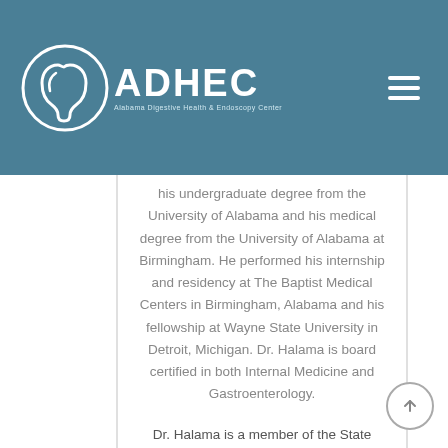[Figure (logo): ADHEC - Alabama Digestive Health & Endoscopy Center logo with circular icon]
his undergraduate degree from the University of Alabama and his medical degree from the University of Alabama at Birmingham. He performed his internship and residency at The Baptist Medical Centers in Birmingham, Alabama and his fellowship at Wayne State University in Detroit, Michigan. Dr. Halama is board certified in both Internal Medicine and Gastroenterology.
Dr. Halama is a member of the State Medical Association, American College of Gastroenterology, and the American Gastroenterological Association.